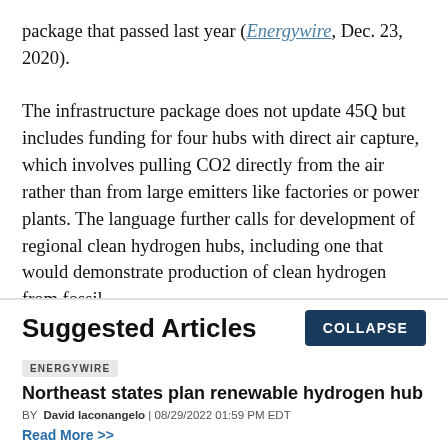package that passed last year (Energywire, Dec. 23, 2020).

The infrastructure package does not update 45Q but includes funding for four hubs with direct air capture, which involves pulling CO2 directly from the air rather than from large emitters like factories or power plants. The language further calls for development of regional clean hydrogen hubs, including one that would demonstrate production of clean hydrogen from fossil
Suggested Articles
COLLAPSE
ENERGYWIRE
Northeast states plan renewable hydrogen hub
BY David Iaconangelo | 08/29/2022 01:59 PM EDT
Read More >>
ENERGYWIRE
Trouble on pipeline's path hits home for Manchin